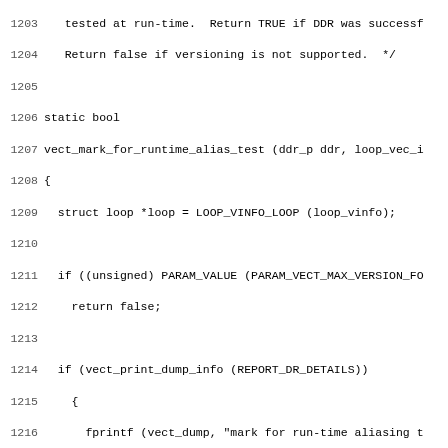Source code listing, lines 1203-1234, showing C function vect_mark_for_runtime_alias_test with loop versioning logic.